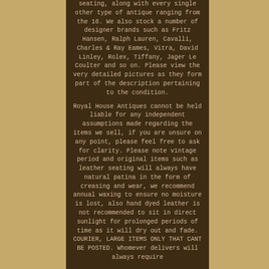seating, along with every single other type of antique ranging from the 16. We also stock a number of designer brands such as Fritz Hansen, Ralph Lauren, Cavalli, Charles & Ray Eames, Vitra, David Linley, Rolex, Tiffany, Jager Le Coulter and so on. Please view the very detailed pictures as they form part of the description pertaining to the condition.

Royal House Antiques cannot be held liable for any independent assumptions made regarding the items we sell, if you are unsure on any point, please feel free to ask for clarity. Please note vintage period and original items such as leather seating will always have natural patina in the form of creasing and wear, we recommend annual waxing to ensure no moisture is lost, also hand dyed leather is not recommended to sit in direct sunlight for prolonged periods of time as it will dry out and fade. COURIER, LARGE ITEMS ONLY THAT CANT BE POSTED. Whomever delivers will always require